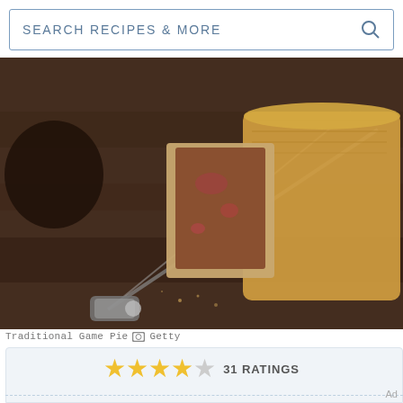SEARCH RECIPES & MORE
[Figure (photo): Traditional Game Pie on a dark wooden board with a knife, the pie is cut open revealing meat filling]
Traditional Game Pie [camera icon] Getty
★★★★☆  31 RATINGS
Prep: 30 mins
Cook: 100 mins
Total: 2 hrs 10 mins